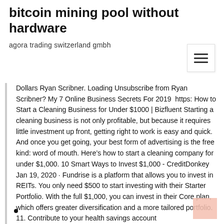bitcoin mining pool without hardware
agora trading switzerland gmbh
[Figure (other): Hamburger menu icon button]
Dollars Ryan Scribner. Loading Unsubscribe from Ryan Scribner? My 7 Online Business Secrets For 2019  https: How to Start a Cleaning Business for Under $1000 | Bizfluent Starting a cleaning business is not only profitable, but because it requires little investment up front, getting right to work is easy and quick. And once you get going, your best form of advertising is the free kind: word of mouth. Here’s how to start a cleaning company for under $1,000. 10 Smart Ways to Invest $1,000 - CreditDonkey Jan 19, 2020 · Fundrise is a platform that allows you to invest in REITs. You only need $500 to start investing with their Starter Portfolio. With the full $1,000, you can invest in their Core plan, which offers greater diversification and a more tailored portfolio. 11. Contribute to your health savings account
•